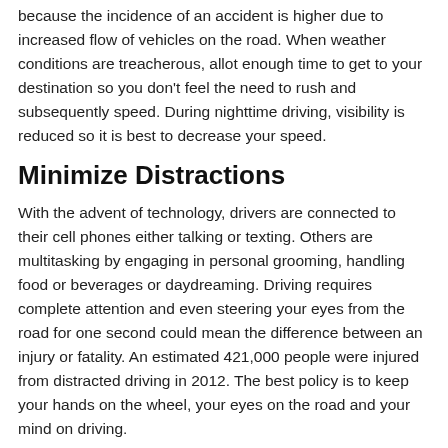because the incidence of an accident is higher due to increased flow of vehicles on the road. When weather conditions are treacherous, allot enough time to get to your destination so you don't feel the need to rush and subsequently speed. During nighttime driving, visibility is reduced so it is best to decrease your speed.
Minimize Distractions
With the advent of technology, drivers are connected to their cell phones either talking or texting. Others are multitasking by engaging in personal grooming, handling food or beverages or daydreaming. Driving requires complete attention and even steering your eyes from the road for one second could mean the difference between an injury or fatality. An estimated 421,000 people were injured from distracted driving in 2012. The best policy is to keep your hands on the wheel, your eyes on the road and your mind on driving.